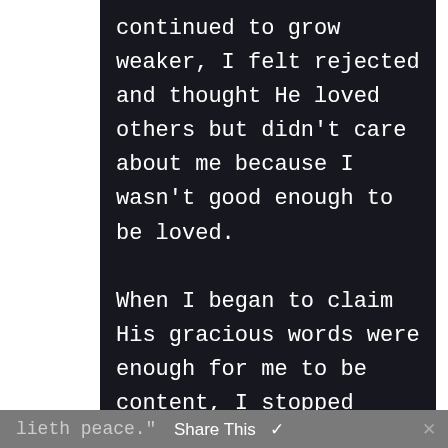continued to grow weaker, I felt rejected and thought He loved others but didn't care about me because I wasn't good enough to be loved.

When I began to claim His gracious words were enough for me to be content, I stopped striving, stopped feeling sorry for myself, and began to rest. It was wonderful. Truly, as Amy Carmichael said, "In acceptance lieth peace."
lieth peace."  Share This  ✓  ×